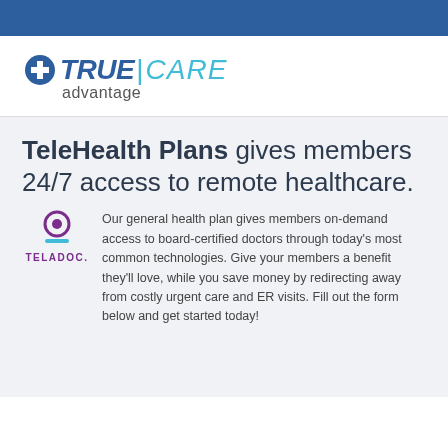[Figure (logo): TrueCare Advantage logo with cross icon, bold blue TRUE, teal pipe and CARE in italic, and 'advantage' below]
TeleHealth Plans gives members 24/7 access to remote healthcare.
[Figure (logo): Teladoc logo — purple circle with cross and purple horizontal bar, TELADOC text in purple]
Our general health plan gives members on-demand access to board-certified doctors through today's most common technologies. Give your members a benefit they'll love, while you save money by redirecting away from costly urgent care and ER visits. Fill out the form below and get started today!